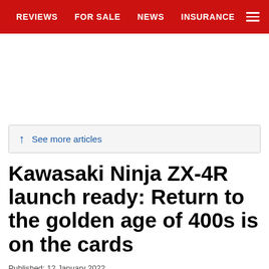REVIEWS  FOR SALE  NEWS  INSURANCE
See more articles
Kawasaki Ninja ZX-4R launch ready: Return to the golden age of 400s is on the cards
Published: 12 January 2022
Updated: 12 January 2022
1 of 2